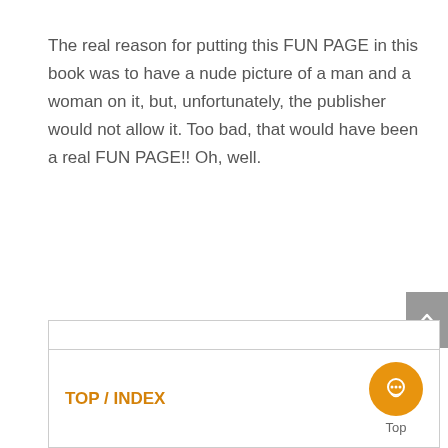The real reason for putting this FUN PAGE in this book was to have a nude picture of a man and a woman on it, but, unfortunately, the publisher would not allow it. Too bad, that would have been a real FUN PAGE!! Oh, well.
TOP / INDEX